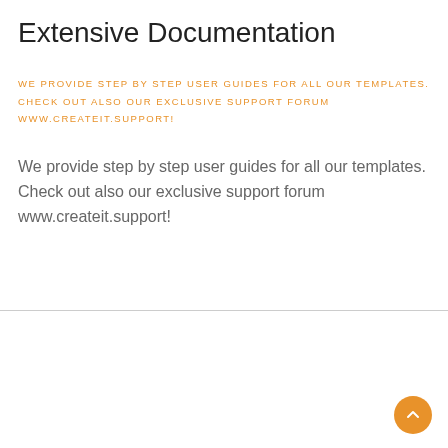Extensive Documentation
WE PROVIDE STEP BY STEP USER GUIDES FOR ALL OUR TEMPLATES. CHECK OUT ALSO OUR EXCLUSIVE SUPPORT FORUM WWW.CREATEIT.SUPPORT!
We provide step by step user guides for all our templates. Check out also our exclusive support forum www.createit.support!
Different styles
Revolution Slider Included